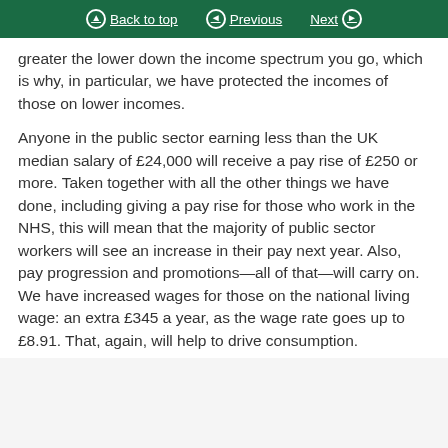Back to top | Previous | Next
greater the lower down the income spectrum you go, which is why, in particular, we have protected the incomes of those on lower incomes.
Anyone in the public sector earning less than the UK median salary of £24,000 will receive a pay rise of £250 or more. Taken together with all the other things we have done, including giving a pay rise for those who work in the NHS, this will mean that the majority of public sector workers will see an increase in their pay next year. Also, pay progression and promotions—all of that—will carry on. We have increased wages for those on the national living wage: an extra £345 a year, as the wage rate goes up to £8.91. That, again, will help to drive consumption.